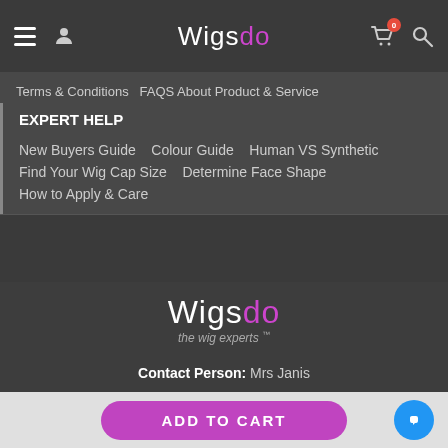Wigsdo — navigation bar with hamburger menu, user icon, logo, cart (0), and search
Terms & Conditions   FAQS About Product & Service
EXPERT HELP
New Buyers Guide   Colour Guide   Human VS Synthetic
Find Your Wig Cap Size   Determine Face Shape
How to Apply & Care
[Figure (logo): Wigsdo logo with 'the wig experts TM' tagline]
Contact Person: Mrs Janis
Skype: support@hairsale.vip
Email: support@hairsale.vip
ADD TO CART button